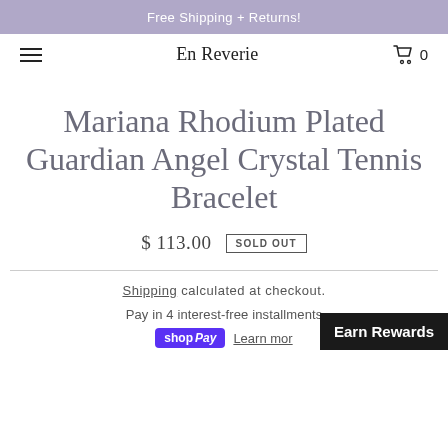Free Shipping + Returns!
En Reverie  0
Mariana Rhodium Plated Guardian Angel Crystal Tennis Bracelet
$ 113.00  SOLD OUT
Shipping calculated at checkout.
Pay in 4 interest-free installments
shop Pay  Learn mor  Earn Rewards